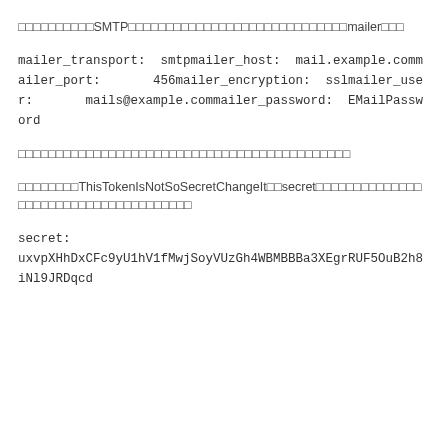次のようにSMTPの設定をして、メールを送信できるようにmailerを設定
mailer_transport:  smtpmailer_host:  mail.example.commailer_port:       456mailer_encryption:  sslmailer_user:       mails@example.commailer_password:  EMailPassword
以下のようにトークンの設定を設定して、セキュリティを強化してください
デフォルトはThisTokenIsNotSoSecretChangeItというsecretになっているので、変更してください
secret:  uxvpXHhDxCFc9yU1hV1fMwjSoyVUzGh4WBMBBBa3XEgrRUF5OuB2h8iNl9JRDqcd